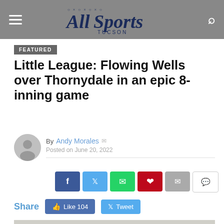All Sports Tucson
FEATURED
Little League: Flowing Wells over Thornydale in an epic 8-inning game
By Andy Morales  Posted on June 20, 2022
[Figure (infographic): Social share buttons: Facebook, Twitter, WhatsApp, Pinterest, Email, Comment]
Share  Like 104  Tweet
[Figure (photo): Youth baseball pitcher in white cap throwing a ball]